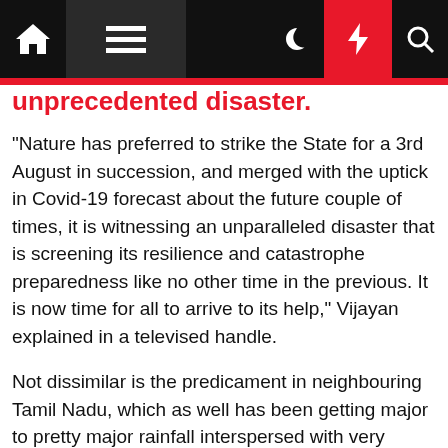[Navigation bar with home icon, menu icon, moon icon, lightning icon, search icon]
…unprecedented disaster.
“Nature has preferred to strike the State for a 3rd August in succession, and merged with the uptick in Covid-19 forecast about the future couple of times, it is witnessing an unparalleled disaster that is screening its resilience and catastrophe preparedness like no other time in the previous. It is now time for all to arrive to its help,” Vijayan explained in a televised handle.
Not dissimilar is the predicament in neighbouring Tamil Nadu, which as well has been getting major to pretty major rainfall interspersed with very major spells. Several rivers in the two States have breached their banks, and in a couple of conditions in Kerala, some have even modified class.
Record-breaking rainfall in Tamil Nadu, Nil...